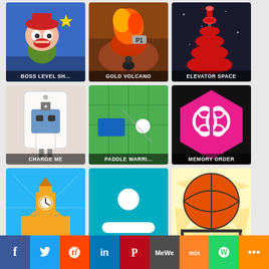[Figure (screenshot): Game tile: Boss Level Sh... - cartoon character with red hat]
[Figure (screenshot): Game tile: Gold Volcano - volcanic explosion scene]
[Figure (screenshot): Game tile: Elevator Space - red stacked rings/donuts]
[Figure (screenshot): Game tile: Charge Me - USB charging device game]
[Figure (screenshot): Game tile: Paddle Warri... - paddle and ball game]
[Figure (screenshot): Game tile: Memory Order - brain icon on pink hexagon]
[Figure (screenshot): Game tile: Stack Tower - tower building game]
[Figure (screenshot): Game tile: Shot Pong - pong ball game on teal background]
[Figure (screenshot): Game tile: Epic Basketba... - basketball game]
[Figure (screenshot): Game tile: (partial) - green background with red bar]
[Figure (screenshot): Game tile: (partial) - UFO/alien spaceship game]
[Figure (screenshot): Game tile: (partial) - pixel character with camera]
[Figure (other): Social media sharing bar with Facebook, Twitter, Reddit, LinkedIn, Pinterest, MeWe, Mix, WhatsApp, More buttons]